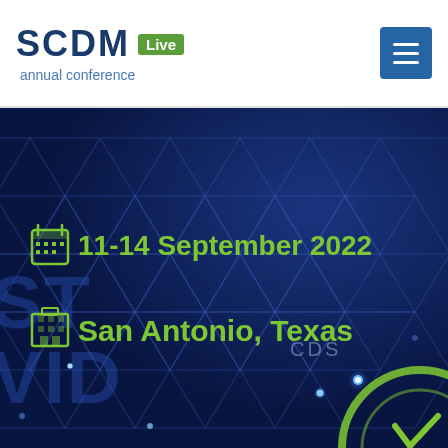SCDM Live annual conference
[Figure (screenshot): Dark navy blue hero image with hexagonal network pattern background showing SCDM Live annual conference event details: 11-14 September 2022, San Antonio, Texas. Watermark text showing 'ST VID' partially visible on left. 'CDS' label on hexagon. Green circular graphic partially visible bottom right. Glowing blue dots scattered across background.]
11-14 September 2022
San Antonio, Texas